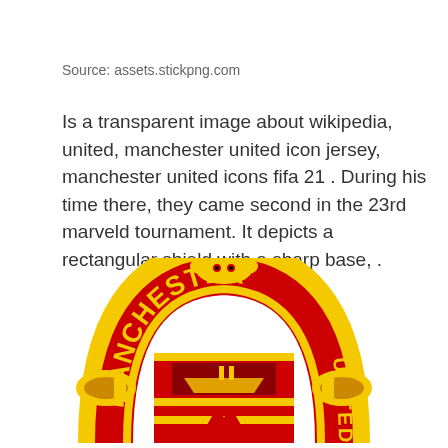Source: assets.stickpng.com
Is a transparent image about wikipedia, united, manchester united icon jersey, manchester united icons fifa 21 . During his time there, they came second in the 23rd marveld tournament. It depicts a rectangular shield with a sharp base, .
[Figure (logo): Manchester United Football Club crest/badge - red shield with yellow arc reading MANCHESTER along the top, featuring a ship and devil imagery in the center, with yellow decorative scrollwork on sides and a bird/phoenix at the top]